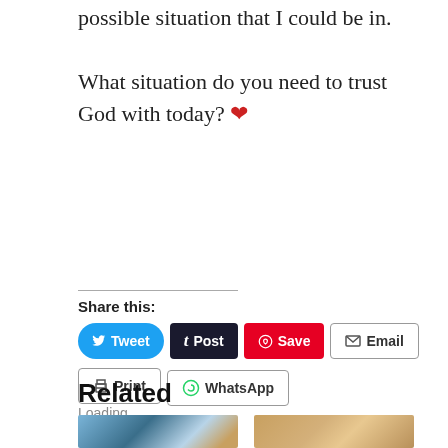possible situation that I could be in.

What situation do you need to trust God with today? ❤
Share this:
[Figure (screenshot): Social share buttons: Tweet (blue), Post (dark), Save (red/Pinterest), Email (outlined), Print (outlined), WhatsApp (outlined)]
Loading…
Related
[Figure (photo): Two related article thumbnail images side by side: left shows a mountain/lake landscape, right shows a woman's profile]